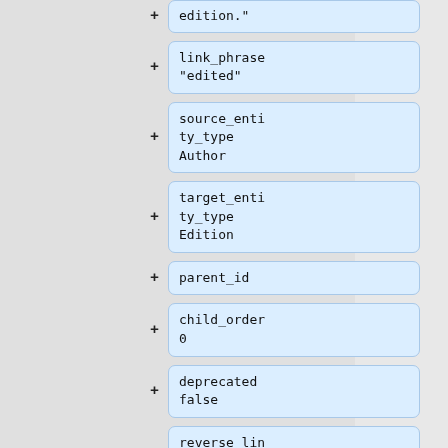[Figure (flowchart): A vertical list of data field cards with blue backgrounds, each with a plus icon on the left. Cards show: edition. (partial, top), link_phrase "edited", source_entity_type Author, target_entity_type Edition, parent_id, child_order 0, deprecated false, reverse_link_phrase (partial, bottom).]